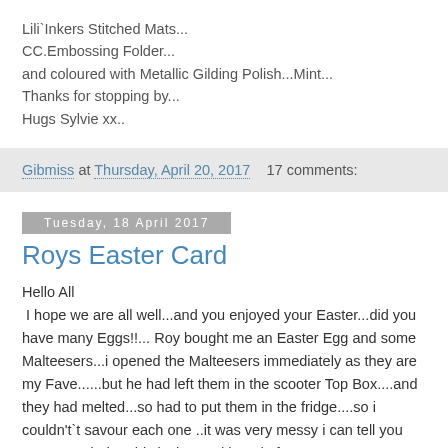Lili`Inkers Stitched Mats...
CC.Embossing Folder...
and coloured with Metallic Gilding Polish...Mint...
Thanks for stopping by...
Hugs Sylvie xx..
Gibmiss at Thursday, April 20, 2017   17 comments:
Tuesday, 18 April 2017
Roys Easter Card
Hello All
 I hope we are all well...and you enjoyed your Easter...did you have many Eggs!!... Roy bought me an Easter Egg and some Malteesers...i opened the Malteesers immediately as they are my Fave......but he had left them in the scooter Top Box....and they had melted...so had to put them in the fridge....so i couldn't`t savour each one ..it was very messy i can tell you ....never mind....This is the card i made for